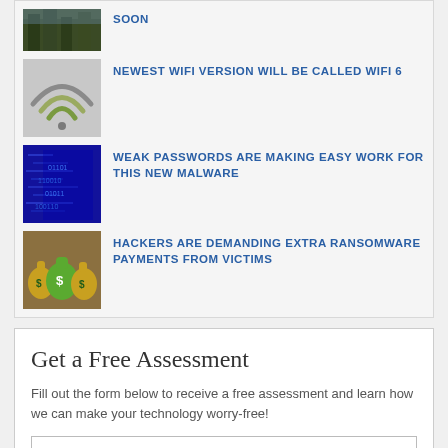[Figure (photo): Forest/trees thumbnail image (partially visible at top)]
SOON
[Figure (illustration): WiFi symbol icon with signal arcs in grey/green on grey background]
NEWEST WIFI VERSION WILL BE CALLED WIFI 6
[Figure (photo): Cybersecurity themed photo with blue digital matrix/code background]
WEAK PASSWORDS ARE MAKING EASY WORK FOR THIS NEW MALWARE
[Figure (illustration): Money bags with dollar signs on brown/gold background]
HACKERS ARE DEMANDING EXTRA RANSOMWARE PAYMENTS FROM VICTIMS
Get a Free Assessment
Fill out the form below to receive a free assessment and learn how we can make your technology worry-free!